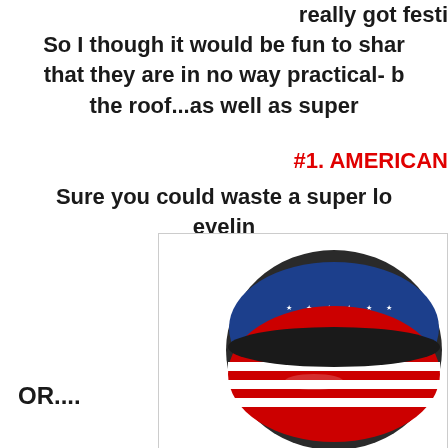really got festi
So I though it would be fun to shar that they are in no way practical- the roof...as well as super
#1. AMERICAN
Sure you could waste a super lo eyelin
[Figure (photo): Close-up of lips painted with American flag design — blue with stars on upper lip, red and white stripes on lower lip]
OR....